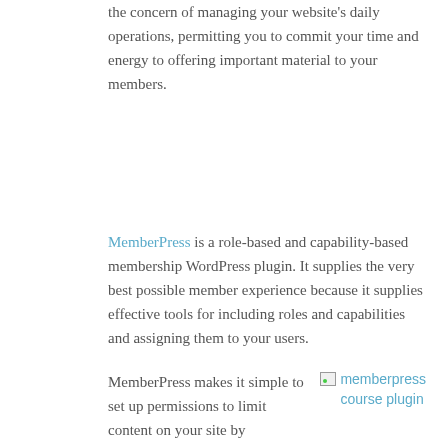the concern of managing your website's daily operations, permitting you to commit your time and energy to offering important material to your members.
MemberPress is a role-based and capability-based membership WordPress plugin. It supplies the very best possible member experience because it supplies effective tools for including roles and capabilities and assigning them to your users.
[Figure (other): Broken image placeholder showing 'memberpress course plugin' as alt text link]
MemberPress makes it simple to set up permissions to limit content on your site by supplying a simple user interface (UI) for WordPress' complicated functions and capabilities system. Formerly, this